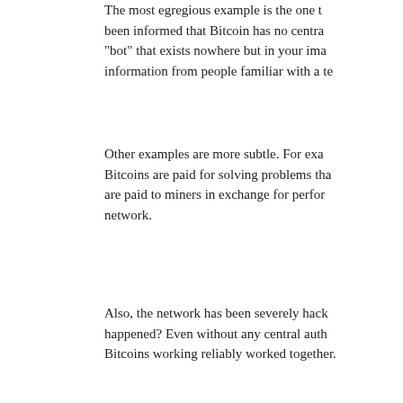The most egregious example is the one t... been informed that Bitcoin has no central... "bot" that exists nowhere but in your imag... information from people familiar with a te...
Other examples are more subtle. For exa... Bitcoins are paid for solving problems tha... are paid to miners in exchange for perfor... network.
Also, the network has been severely hack... happened? Even without any central auth... Bitcoins working reliably worked together.
Bitcoins have a lot of weaknesses, but no... issues you mention. You really do have to... it.
Posted by: David Schwartz | Sep 14, 2011 at 02:...
61.
The currency is regulated by its code.
Mobile
Posted by: ecastronova | Sep 14, 2011 at 08:25...
62.  Bitcoins can be compared to cash, b...